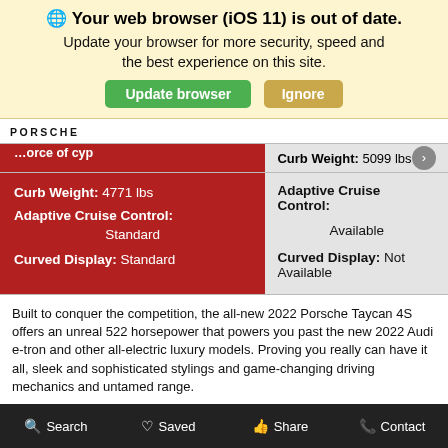🌐 Your web browser (iOS 11) is out of date. Update your browser for more security, speed and the best experience on this site. Update browser | Ignore
[Figure (screenshot): Porsche website comparison table screenshot showing car specs and browser update warning]
Curb Weight: 4771 lbs
Adaptive Cruise Control: Standard
Curved Display: Standard
Curb Weight: 5099 lbs
Adaptive Cruise Control: Available
Curved Display: Not Available
Built to conquer the competition, the all-new 2022 Porsche Taycan 4S offers an unreal 522 horsepower that powers you past the new 2022 Audi e-tron and other all-electric luxury models. Proving you really can have it all, sleek and sophisticated stylings and game-changing driving mechanics and untamed range.
2022 Porsche Panamera
2022 Mercedes S-Class
Search  Saved  Share  Contact